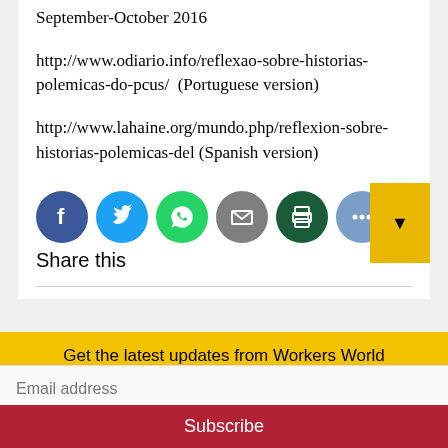September-October 2016
http://www.odiario.info/reflexao-sobre-historias-polemicas-do-pcus/ (Portuguese version)
http://www.lahaine.org/mundo.php/reflexion-sobre-historias-polemicas-del (Spanish version)
[Figure (infographic): Social share icons: Facebook (dark blue circle with f), Twitter (blue circle with bird), WhatsApp (green circle with phone), Email (grey circle with envelope), Print (dark green circle with printer), More (blue-grey circle with three dots)]
Share this
Get the latest updates from Workers World
Email address
Subscribe